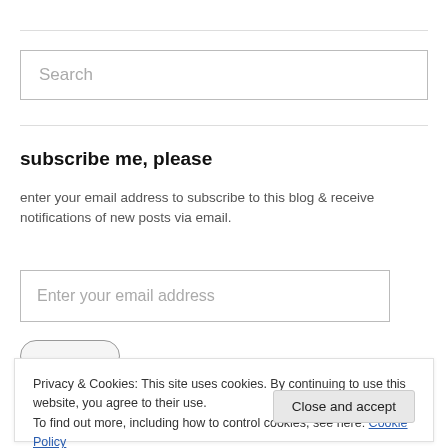Search
subscribe me, please
enter your email address to subscribe to this blog & receive notifications of new posts via email.
Enter your email address
Privacy & Cookies: This site uses cookies. By continuing to use this website, you agree to their use.
To find out more, including how to control cookies, see here: Cookie Policy
Close and accept